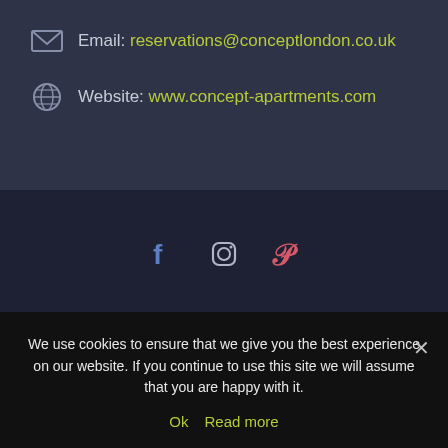Email: reservations@conceptlondon.co.uk
Website: www.concept-apartments.com
[Figure (other): Social media icons: Facebook (blue), Instagram (outline), Pinterest (red/pink)]
Terms & Conditions | Privacy | About Us | Contact
We use cookies to ensure that we give you the best experience on our website. If you continue to use this site we will assume that you are happy with it.
Ok  Read more